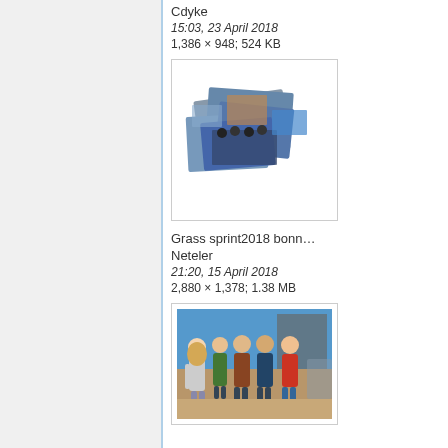Cdyke
15:03, 23 April 2018
1,386 × 948; 524 KB
[Figure (photo): Collage of multiple photos from an event, showing groups of people]
Grass sprint2018 bonn…
Neteler
21:20, 15 April 2018
2,880 × 1,378; 1.38 MB
[Figure (photo): Group photo of five people standing together indoors]